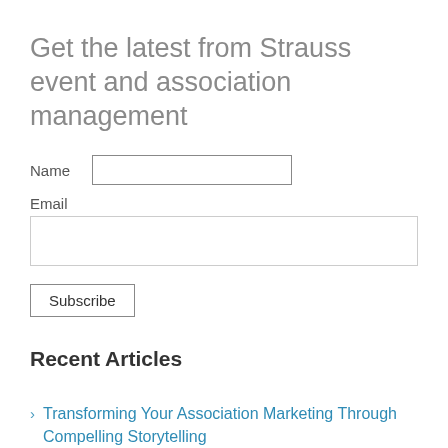Get the latest from Strauss event and association management
Name
Email
Subscribe
Recent Articles
Transforming Your Association Marketing Through Compelling Storytelling
Stepping Into Association Management- Roles and Responsibilities